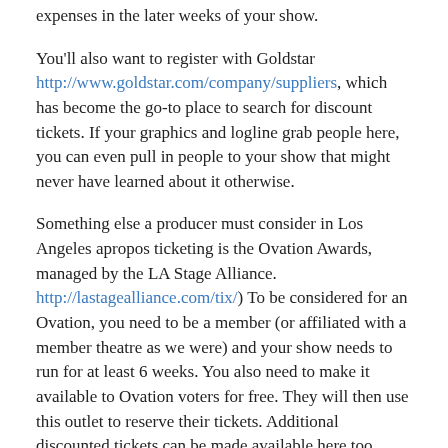expenses in the later weeks of your show.
You'll also want to register with Goldstar http://www.goldstar.com/company/suppliers, which has become the go-to place to search for discount tickets. If your graphics and logline grab people here, you can even pull in people to your show that might never have learned about it otherwise.
Something else a producer must consider in Los Angeles apropos ticketing is the Ovation Awards, managed by the LA Stage Alliance. http://lastagealliance.com/tix/) To be considered for an Ovation, you need to be a member (or affiliated with a member theatre as we were) and your show needs to run for at least 6 weeks. You also need to make it available to Ovation voters for free. They will then use this outlet to reserve their tickets. Additional discounted tickets can be made available here too, though we didn't pull in anyone other than voters from this site.